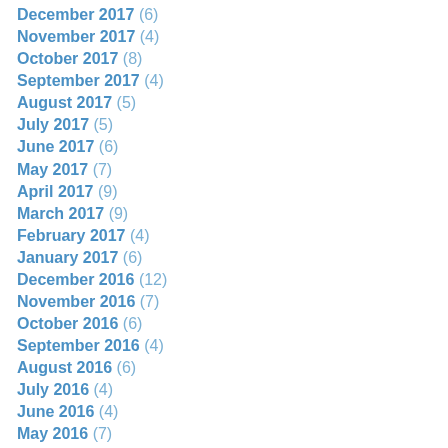December 2017 (6)
November 2017 (4)
October 2017 (8)
September 2017 (4)
August 2017 (5)
July 2017 (5)
June 2017 (6)
May 2017 (7)
April 2017 (9)
March 2017 (9)
February 2017 (4)
January 2017 (6)
December 2016 (12)
November 2016 (7)
October 2016 (6)
September 2016 (4)
August 2016 (6)
July 2016 (4)
June 2016 (4)
May 2016 (7)